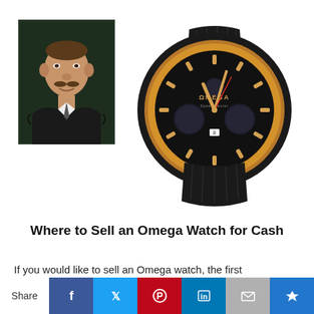[Figure (photo): Portrait painting of a heavyset man in a dark suit with a mustache, formal 19th-century style oil portrait]
[Figure (photo): Omega Speedmaster luxury wristwatch with rose gold case, black dial, chronograph subdials, and black leather strap]
Where to Sell an Omega Watch for Cash
If you would like to sell an Omega watch, the first
[Figure (infographic): Social share bar with Share label and buttons: Facebook (blue), Twitter (blue), Pinterest (red), LinkedIn (blue), Email (gray), Crown/other (dark blue)]